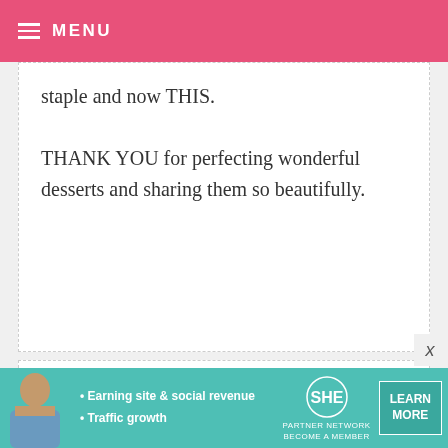MENU
staple and now THIS.

THANK YOU for perfecting wonderful desserts and sharing them so beautifully.
JAMIELYN — AUGUST 28, 2010 @ 11:14 PM REPLY
wow this looks amazing! i'll have to give it a try!
[Figure (other): Advertisement banner for SHE Partner Network with text: Earning site & social revenue, Traffic growth, BECOME A MEMBER, with LEARN MORE button]